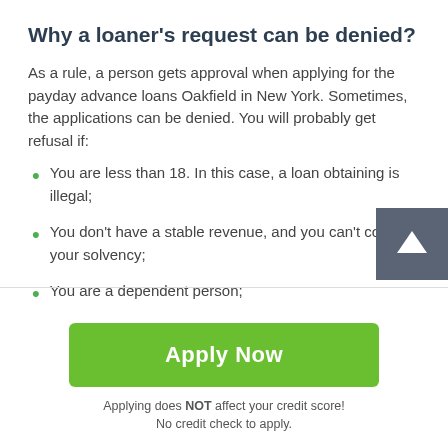Why a loaner's request can be denied?
As a rule, a person gets approval when applying for the payday advance loans Oakfield in New York. Sometimes, the applications can be denied. You will probably get refusal if:
You are less than 18. In this case, a loan obtaining is illegal;
You don't have a stable revenue, and you can't confirm your solvency;
You are a dependent person;
Apply Now
Applying does NOT affect your credit score!
No credit check to apply.